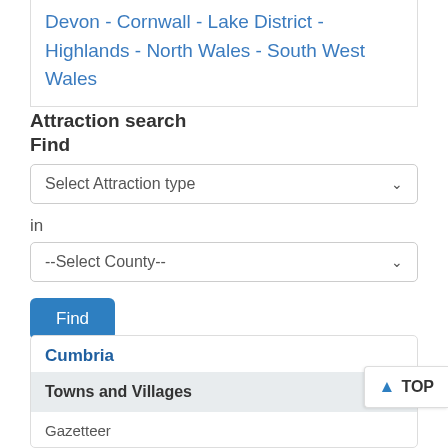Devon - Cornwall - Lake District - Highlands - North Wales - South West Wales
Attraction search
Find
Select Attraction type
in
--Select County--
Find
Cumbria
Towns and Villages
Gazetteer